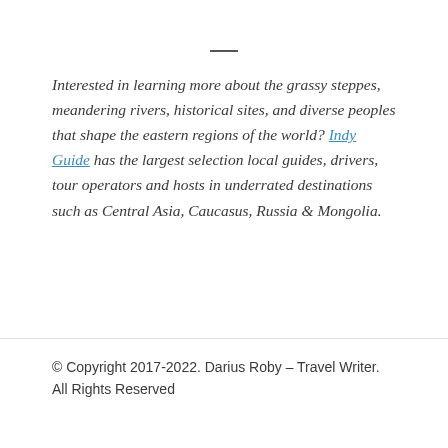Interested in learning more about the grassy steppes, meandering rivers, historical sites, and diverse peoples that shape the eastern regions of the world? Indy Guide has the largest selection local guides, drivers, tour operators and hosts in underrated destinations such as Central Asia, Caucasus, Russia & Mongolia.
© Copyright 2017-2022. Darius Roby – Travel Writer. All Rights Reserved